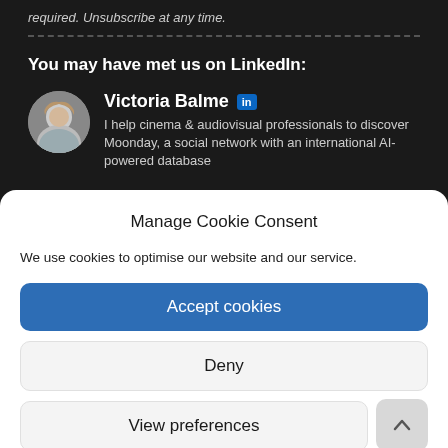required. Unsubscribe at any time.
You may have met us on LinkedIn:
Victoria Balme
I help cinema & audiovisual professionals to discover Moonday, a social network with an international AI-powered database
Manage Cookie Consent
We use cookies to optimise our website and our service.
Accept cookies
Deny
View preferences